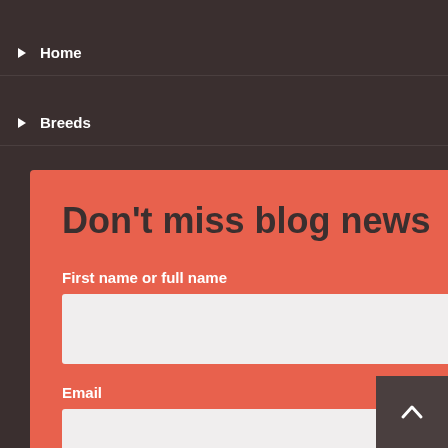▶ Home
▶ Breeds
Don't miss blog news
First name or full name
Email
By continuing, you accept our privacy policy.
SUBSCRIBE